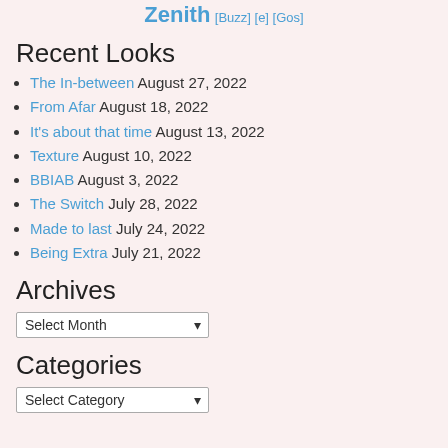Zenith [Buzz] [e] [Gos]
Recent Looks
The In-between August 27, 2022
From Afar August 18, 2022
It's about that time August 13, 2022
Texture August 10, 2022
BBIAB August 3, 2022
The Switch July 28, 2022
Made to last July 24, 2022
Being Extra July 21, 2022
Archives
Select Month
Categories
Select Category